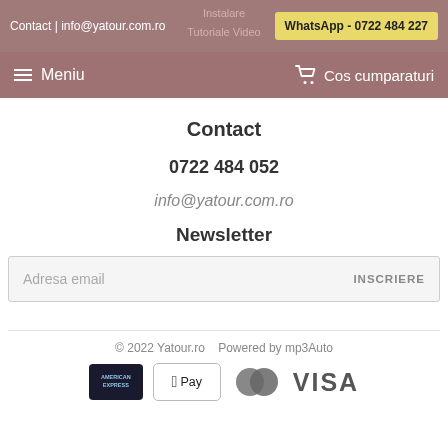Instalare | Contact | info@yatour.com.ro | WhatsApp - 0722 484 227 | Tutoriale Video
Meniu | Cos cumparaturi
Contact
0722 484 052
info@yatour.com.ro
Newsletter
Adresa email | INSCRIERE
© 2022 Yatour.ro   Powered by mp3Auto
[Figure (other): Payment method icons: American Express, Apple Pay, Mastercard, VISA]